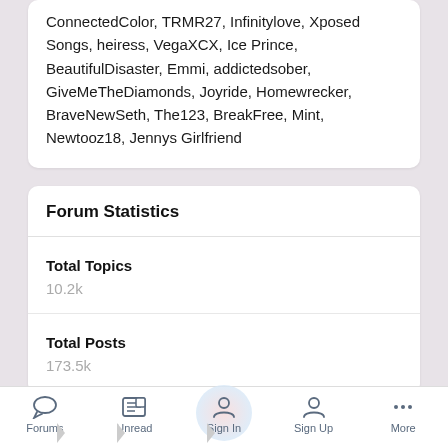ConnectedColor, TRMR27, Infinitylove, Xposed Songs, heiress, VegaXCX, Ice Prince, BeautifulDisaster, Emmi, addictedsober, GiveMeTheDiamonds, Joyride, Homewrecker, BraveNewSeth, The123, BreakFree, Mint, Newtooz18, Jennys Girlfriend
Forum Statistics
Total Topics
10.2k
Total Posts
173.5k
Home > News > Interviews > Interview: Sizzy Rocket on Feminism, Fuckin
Forums | Unread | Sign In | Sign Up | More